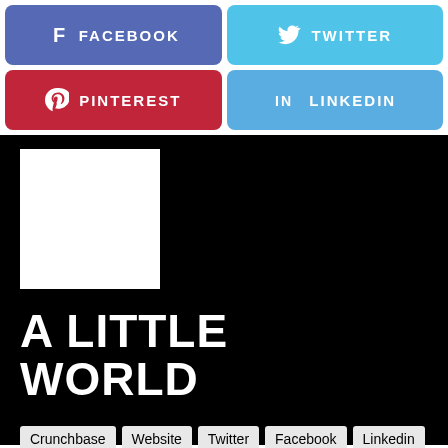[Figure (infographic): Social media share buttons: Facebook (purple-blue), Twitter (light blue), Pinterest (red), LinkedIn (blue)]
[Figure (logo): White square logo placeholder on black background]
A LITTLE WORLD
Crunchbase  Website  Twitter  Facebook  Linkedin